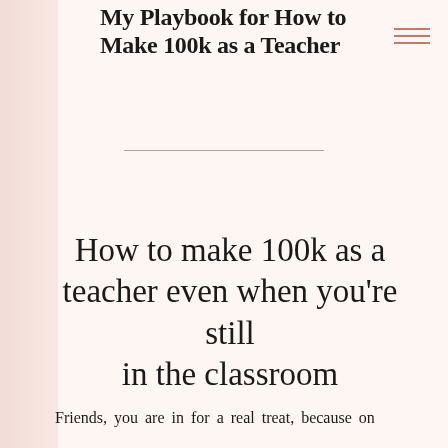My Playbook for How to Make 100k as a Teacher
How to make 100k as a teacher even when you’re still in the classroom
Friends, you are in for a real treat, because on